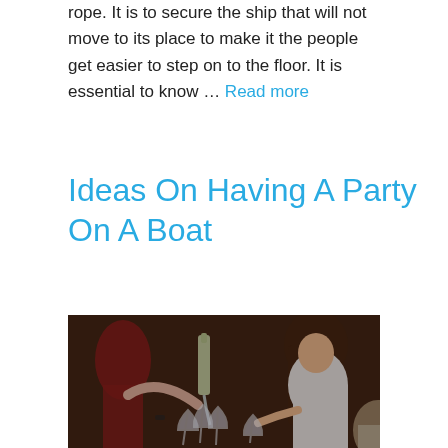rope. It is to secure the ship that will not move to its place to make it the people get easier to step on to the floor. It is essential to know … Read more
Ideas On Having A Party On A Boat
[Figure (photo): Group of young women clinking champagne glasses together at a party, with a bottle pouring champagne, dark background suggesting indoor evening event]